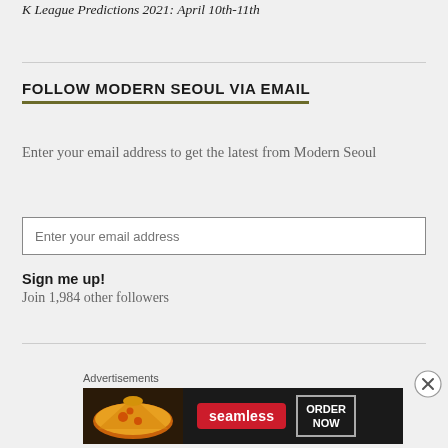K League Predictions 2021: April 10th-11th
FOLLOW MODERN SEOUL VIA EMAIL
Enter your email address to get the latest from Modern Seoul
Sign me up!
Join 1,984 other followers
Advertisements
[Figure (other): Seamless food delivery advertisement banner showing pizza image, Seamless logo, and ORDER NOW button]